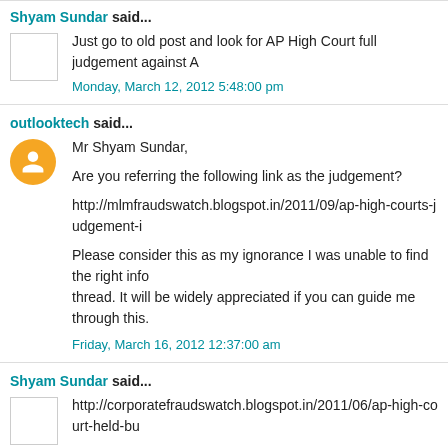Shyam Sundar said...
Just go to old post and look for AP High Court full judgement against A
Monday, March 12, 2012 5:48:00 pm
outlooktech said...
Mr Shyam Sundar,

Are you referring the following link as the judgement?

http://mlmfraudswatch.blogspot.in/2011/09/ap-high-courts-judgement-i

Please consider this as my ignorance I was unable to find the right info thread. It will be widely appreciated if you can guide me through this.
Friday, March 16, 2012 12:37:00 am
Shyam Sundar said...
http://corporatefraudswatch.blogspot.in/2011/06/ap-high-court-held-bu Here you could see the gist of AP High Court jdugement against Amwa If you want full text, a soft copy would be forwarded to you provided if y and email.